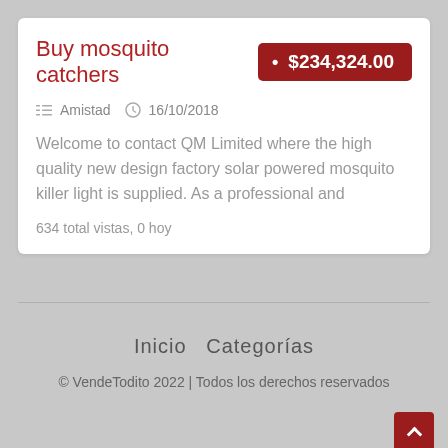Buy mosquito catchers
$234,324.00
Amistad   16/10/2018
Welcome to contact QM Limited where the high quality new design factory solar powered mosquito killer light is supplied. As a professional and
634 total vistas, 0 hoy
Inicio  Categorías
© VendeTodito 2022 | Todos los derechos reservados